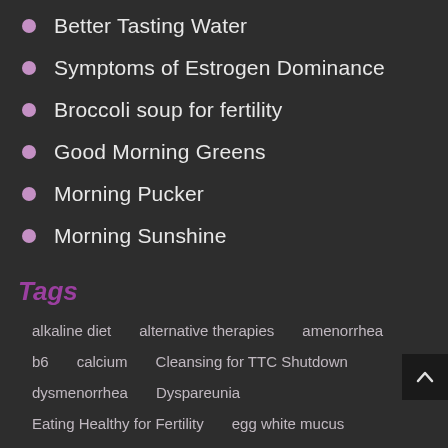Better Tasting Water
Symptoms of Estrogen Dominance
Broccoli soup for fertility
Good Morning Greens
Morning Pucker
Morning Sunshine
Tags
alkaline diet   alternative therapies   amenorrhea   b6   calcium   Cleansing for TTC Shutdown   dysmenorrhea   Dyspareunia   Eating Healthy for Fertility   egg white mucus   enhancing libido   estrogen   estrogen dominance   fertility   fertility tracker   fertility websites   harmful to TTC   healthy soup